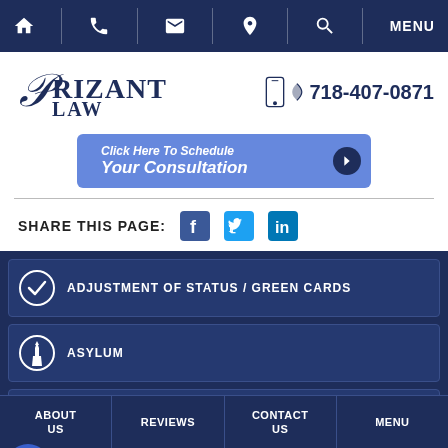Navigation bar with home, phone, email, location, search, and MENU
[Figure (logo): Prizant Law logo with stylized PL script]
718-407-0871
Click Here To Schedule Your Consultation
SHARE THIS PAGE:
ADJUSTMENT OF STATUS / GREEN CARDS
ASYLUM
CANCELLATION OF REMOVAL
ABOUT US | REVIEWS | CONTACT US | MENU